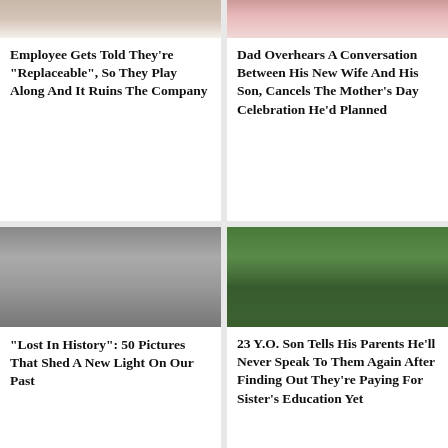[Figure (photo): Partial photo of a person, top portion cropped (top-left card)]
Employee Gets Told They're "Replaceable", So They Play Along And It Ruins The Company
[Figure (photo): Partial photo showing people with red decorative elements, top portion cropped (top-right card)]
Dad Overhears A Conversation Between His New Wife And His Son, Cancels The Mother's Day Celebration He'd Planned
[Figure (photo): Black and white historical photo showing women holding babies and a man looking upward]
"Lost In History": 50 Pictures That Shed A New Light On Our Past
[Figure (photo): Color photo of graduates in black robes with red sashes gathered outdoors among trees]
23 Y.O. Son Tells His Parents He'll Never Speak To Them Again After Finding Out They're Paying For Sister's Education Yet